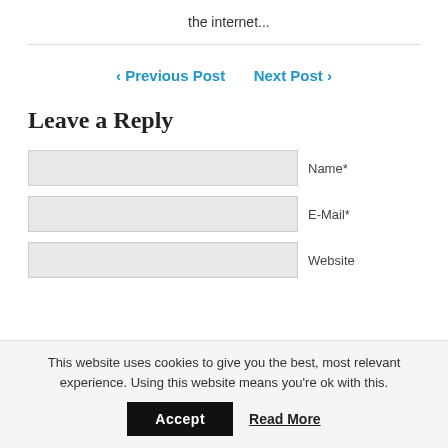the internet...
< Previous Post   Next Post >
Leave a Reply
Name*
E-Mail*
Website
This website uses cookies to give you the best, most relevant experience. Using this website means you're ok with this.
Accept
Read More